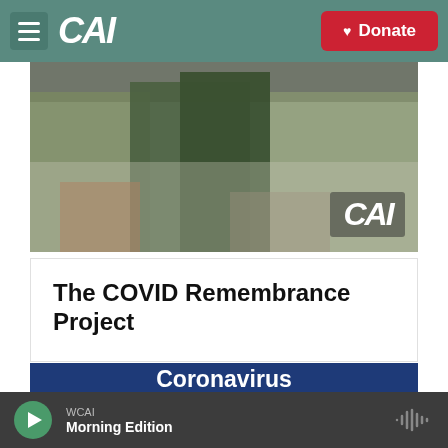CAI — Donate
[Figure (photo): Aerial drone photo of trees and forest landscape with CAI logo watermark in bottom right]
The COVID Remembrance Project
[Figure (infographic): Dark blue card with white bold text reading 'Coronavirus Coverage']
WCAI — Morning Edition (audio player bar)